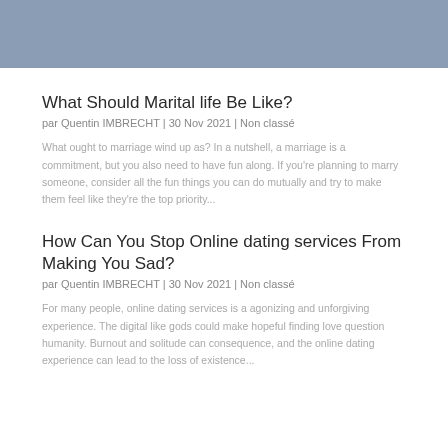[Figure (other): Blue-grey header banner strip]
What Should Marital life Be Like?
par Quentin IMBRECHT | 30 Nov 2021 | Non classé
What ought to marriage wind up as? In a nutshell, a marriage is a commitment, but you also need to have fun along. If you're planning to marry someone, consider all the fun things you can do mutually and try to make them feel like they're the top priority...
How Can You Stop Online dating services From Making You Sad?
par Quentin IMBRECHT | 30 Nov 2021 | Non classé
For many people, online dating services is a agonizing and unforgiving experience. The digital like gods could make hopeful finding love question humanity. Burnout and solitude can consequence, and the online dating experience can lead to the loss of existence...